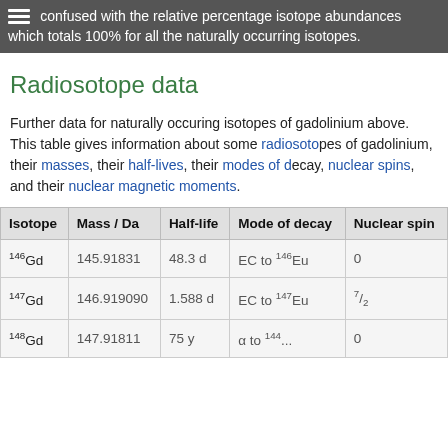confused with the relative percentage isotope abundances which totals 100% for all the naturally occurring isotopes.
Radiosotope data
Further data for naturally occuring isotopes of gadolinium above. This table gives information about some radiosotopes of gadolinium, their masses, their half-lives, their modes of decay, nuclear spins, and their nuclear magnetic moments.
| Isotope | Mass / Da | Half-life | Mode of decay | Nuclear spin |
| --- | --- | --- | --- | --- |
| 146Gd | 145.91831 | 48.3 d | EC to 146Eu | 0 |
| 147Gd | 146.919090 | 1.588 d | EC to 147Eu | 7/2 |
| 148Gd | 147.91811 | 75 y | α to 144... | 0 |